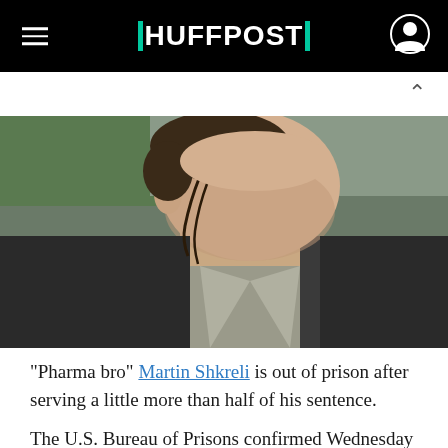HUFFPOST
[Figure (photo): Close-up photograph of a man looking upward, wearing a dark blazer and open-collar shirt. An orange traffic cone is visible in the background on the left, with a road and greenery behind.]
“Pharma bro” Martin Shkreli is out of prison after serving a little more than half of his sentence.
The U.S. Bureau of Prisons confirmed Wednesday that Shkreli, who had been serving